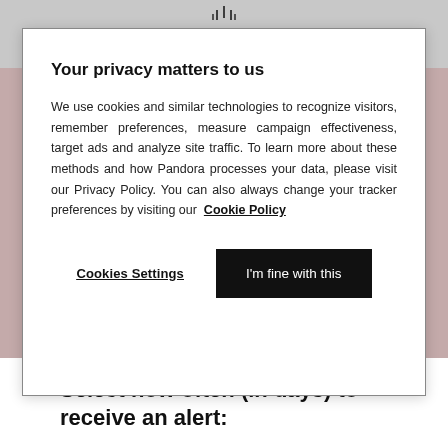[Figure (logo): Pandora logo with crown icon at top of page]
Your privacy matters to us
We use cookies and similar technologies to recognize visitors, remember preferences, measure campaign effectiveness, target ads and analyze site traffic. To learn more about these methods and how Pandora processes your data, please visit our Privacy Policy. You can also always change your tracker preferences by visiting our Cookie Policy
Cookies Settings
I'm fine with this
Search Jobs
Select how often (in days) to receive an alert: